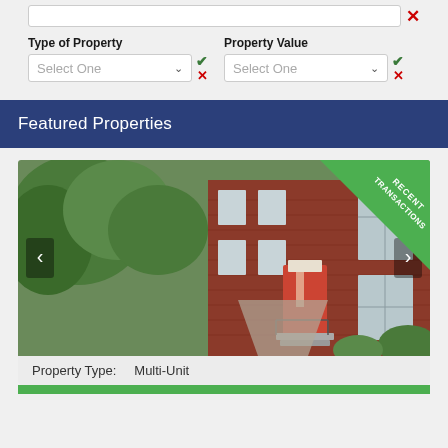[Figure (screenshot): Search bar with red X close button]
Type of Property
Property Value
[Figure (screenshot): Select One dropdown for Type of Property with green checkmark and red X]
[Figure (screenshot): Select One dropdown for Property Value with green checkmark and red X]
Featured Properties
[Figure (photo): Photo of a red brick multi-unit residential building with green trees and foliage in front, a red front door, and a green diagonal 'RECENT TRANSACTIONS' ribbon badge in top-right corner. Navigation arrows on left and right sides.]
Property Type:    Multi-Unit